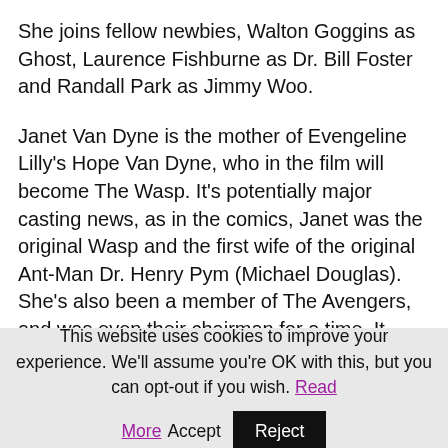She joins fellow newbies, Walton Goggins as Ghost, Laurence Fishburne as Dr. Bill Foster and Randall Park as Jimmy Woo.
Janet Van Dyne is the mother of Evengeline Lilly's Hope Van Dyne, who in the film will become The Wasp. It's potentially major casting news, as in the comics, Janet was the original Wasp and the first wife of the original Ant-Man Dr. Henry Pym (Michael Douglas). She's also been a member of The Avengers, and was even their chairman for a time. It therefore means there's potentially space to move Pfeiffer into other Marvel movies.
This website uses cookies to improve your experience. We'll assume you're OK with this, but you can opt-out if you wish. Read More Accept Reject